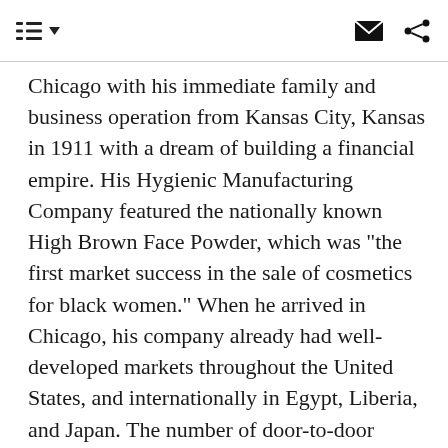[navigation menu icon] [dropdown] [mail icon] [share icon]
Chicago with his immediate family and business operation from Kansas City, Kansas in 1911 with a dream of building a financial empire. His Hygienic Manufacturing Company featured the nationally known High Brown Face Powder, which was "the first market success in the sale of cosmetics for black women." When he arrived in Chicago, his company already had well-developed markets throughout the United States, and internationally in Egypt, Liberia, and Japan. The number of door-to-door representatives approached 500, each selling a line of 60 products. The catalog included not only cosmetics and perfumes, but also other household products ranging from shoe polish to cooking ingredients, extracts, and, of course, Overton's original baking powder. Following the move to Chicago, the growth of his company was